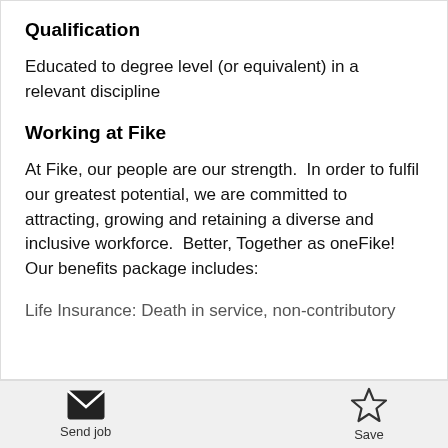Qualification
Educated to degree level (or equivalent) in a relevant discipline
Working at Fike
At Fike, our people are our strength.  In order to fulfil our greatest potential, we are committed to attracting, growing and retaining a diverse and inclusive workforce.  Better, Together as oneFike!  Our benefits package includes:
Life Insurance: Death in service, non-contributory
Send job   Save